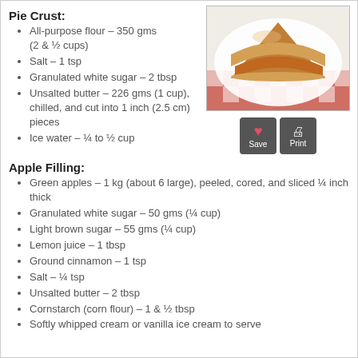Pie Crust:
All-purpose flour – 350 gms (2 & ½ cups)
Salt – 1 tsp
Granulated white sugar – 2 tbsp
Unsalted butter – 226 gms (1 cup), chilled, and cut into 1 inch (2.5 cm) pieces
Ice water – ¼ to ½ cup
[Figure (photo): Photo of a slice of apple pie on a white plate with red checkered paper underneath]
[Figure (other): Save and Print buttons with heart and printer icons]
Apple Filling:
Green apples – 1 kg (about 6 large), peeled, cored, and sliced ¼ inch thick
Granulated white sugar – 50 gms (¼ cup)
Light brown sugar – 55 gms (¼ cup)
Lemon juice – 1 tbsp
Ground cinnamon – 1 tsp
Salt – ¼ tsp
Unsalted butter – 2 tbsp
Cornstarch (corn flour) – 1 & ½ tbsp
Softly whipped cream or vanilla ice cream to serve